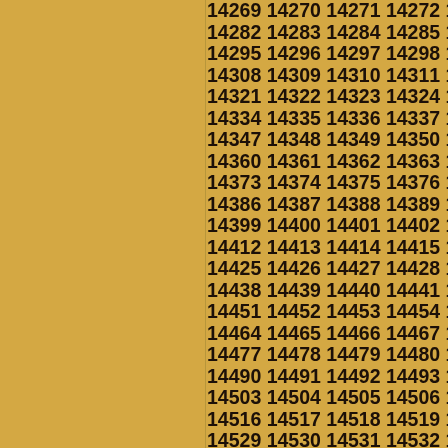14269 14270 14271 14272 14273 14274 14275 14276 14277 14278 14279 14280 14281 14282 14283 14284 14285 14286 14287 14288 14289 14290 14291 14292 14293 14294 14295 14296 14297 14298 14299 14300 14301 14302 14303 14304 14305 14306 14307 14308 14309 14310 14311 14312 14313 14314 14315 14316 14317 14318 14319 14320 14321 14322 14323 14324 14325 14326 14327 14328 14329 14330 14331 14332 14333 14334 14335 14336 14337 14338 14339 14340 14341 14342 14343 14344 14345 14346 14347 14348 14349 14350 14351 14352 14353 14354 14355 14356 14357 14358 14359 14360 14361 14362 14363 14364 14365 14366 14367 14368 14369 14370 14371 14372 14373 14374 14375 14376 14377 14378 14379 14380 14381 14382 14383 14384 14385 14386 14387 14388 14389 14390 14391 14392 14393 14394 14395 14396 14397 14398 14399 14400 14401 14402 14403 14404 14405 14406 14407 14408 14409 14410 14411 14412 14413 14414 14415 14416 14417 14418 14419 14420 14421 14422 14423 14424 14425 14426 14427 14428 14429 14430 14431 14432 14433 14434 14435 14436 14437 14438 14439 14440 14441 14442 14443 14444 14445 14446 14447 14448 14449 14450 14451 14452 14453 14454 14455 14456 14457 14458 14459 14460 14461 14462 14463 14464 14465 14466 14467 14468 14469 14470 14471 14472 14473 14474 14475 14476 14477 14478 14479 14480 14481 14482 14483 14484 14485 14486 14487 14488 14489 14490 14491 14492 14493 14494 14495 14496 14497 14498 14499 14500 14501 14502 14503 14504 14505 14506 14507 14508 14509 14510 14511 14512 14513 14514 14515 14516 14517 14518 14519 14520 14521 14522 14523 14524 14525 14526 14527 14528 14529 14530 14531 14532 14533 14534 14535 14536 14537 14538 14539 14540 14541 14542 14543 14544 14545 14546 14547